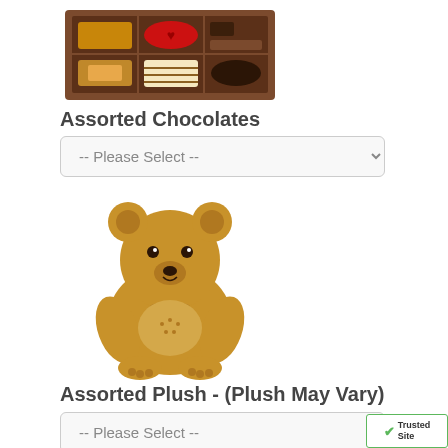[Figure (photo): A box of assorted chocolates with various shapes and a red heart-shaped chocolate visible]
Assorted Chocolates
[Figure (screenshot): A dropdown select element with placeholder text -- Please Select --]
[Figure (photo): A fluffy tan/brown teddy bear plush toy sitting upright on a white background]
Assorted Plush - (Plush May Vary)
[Figure (screenshot): A dropdown select element with placeholder text -- Please Select --]
[Figure (logo): TrustedSite badge with green checkmark in bottom right corner]